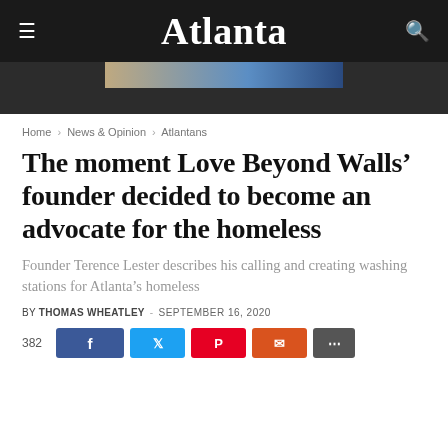Atlanta
Home › News & Opinion › Atlantans
The moment Love Beyond Walls' founder decided to become an advocate for the homeless
Founder Terence Lester describes his calling and creating washing stations for Atlanta's homeless
BY THOMAS WHEATLEY - SEPTEMBER 16, 2020
383 [share buttons: Facebook, Twitter, Pinterest, Email, More]